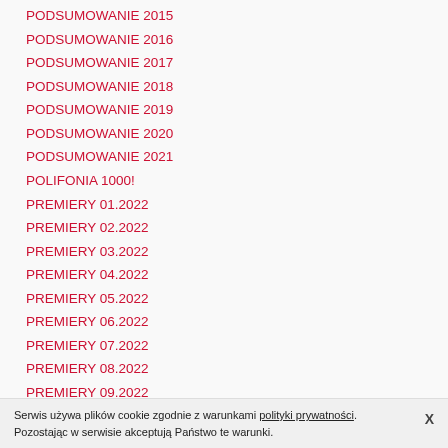PODSUMOWANIE 2015
PODSUMOWANIE 2016
PODSUMOWANIE 2017
PODSUMOWANIE 2018
PODSUMOWANIE 2019
PODSUMOWANIE 2020
PODSUMOWANIE 2021
POLIFONIA 1000!
PREMIERY 01.2022
PREMIERY 02.2022
PREMIERY 03.2022
PREMIERY 04.2022
PREMIERY 05.2022
PREMIERY 06.2022
PREMIERY 07.2022
PREMIERY 08.2022
PREMIERY 09.2022
Skala ocen płyt
STARE PREMIERY
01.2019
Serwis używa plików cookie zgodnie z warunkami polityki prywatności. Pozostając w serwisie akceptują Państwo te warunki.